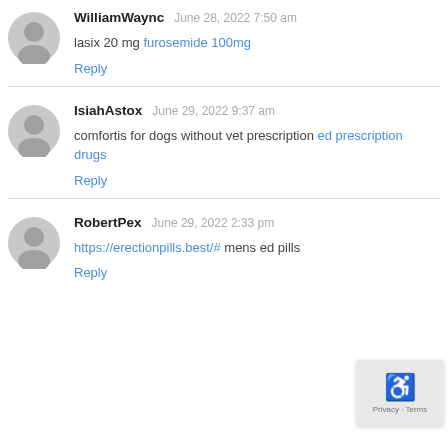[Figure (illustration): Grey avatar icon for WilliamWaync]
WilliamWaync  June 28, 2022 7:50 am
lasix 20 mg furosemide 100mg
Reply
[Figure (illustration): Grey avatar icon for IsiahAstox]
IsiahAstox  June 29, 2022 9:37 am
comfortis for dogs without vet prescription ed prescription drugs
Reply
[Figure (illustration): Grey avatar icon for RobertPex]
RobertPex  June 29, 2022 2:33 pm
https://erectionpills.best/# mens ed pills
Reply